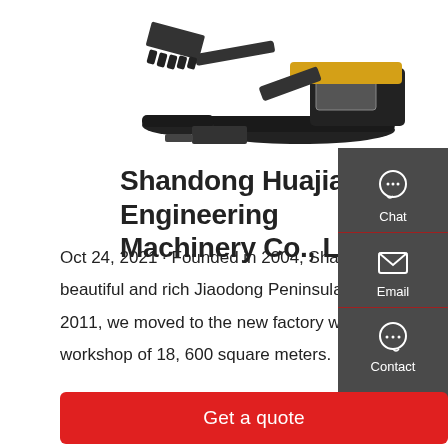[Figure (photo): Yellow and black mini excavator/crawler excavator photographed against a white background, partially cropped at top]
Shandong Huajian Engineering Machinery Co., Ltd.
Oct 24, 2021 · Founded in 2004, Shandong Huajian Construction Machinery Co., Ltd. is located in the beautiful and rich Jiaodong Peninsula--Shahe Town, Laizhou City, Shandong Province, China. In March, 2011, we moved to the new factory which covers an area of 58, 000 square meters and owns a modern workshop of 18, 600 square meters.
[Figure (infographic): Dark grey sidebar with Chat (headset icon), Email (envelope icon), and Contact (speech bubble icon) buttons with red dividers]
Get a quote